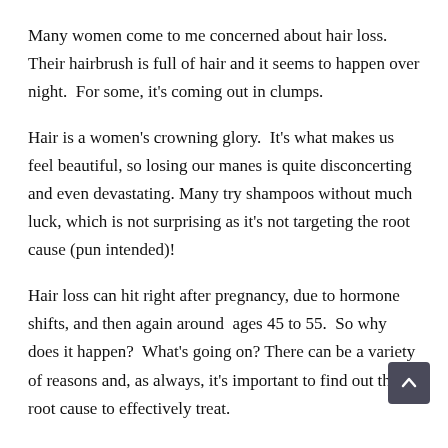Many women come to me concerned about hair loss.  Their hairbrush is full of hair and it seems to happen over night.  For some, it's coming out in clumps.
Hair is a women's crowning glory.  It's what makes us feel beautiful, so losing our manes is quite disconcerting and even devastating. Many try shampoos without much luck, which is not surprising as it's not targeting the root cause (pun intended)!
Hair loss can hit right after pregnancy, due to hormone shifts, and then again around  ages 45 to 55.  So why does it happen?  What's going on? There can be a variety of reasons and, as always, it's important to find out the root cause to effectively treat.
The following are common causes or origins: